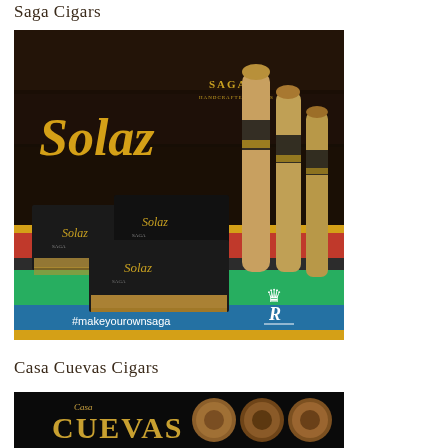Saga Cigars
[Figure (photo): Saga Cigars Solaz brand advertisement showing cigar boxes with 'Solaz' branding on a flag background (red, green, blue stripes), three cigars with gold bands on the right, and the hashtag #makeyourownsaga with a royal crown logo in the bottom right.]
Casa Cuevas Cigars
[Figure (photo): Casa Cuevas Cigars advertisement on black background showing the 'CUEVAS' logo in gold/brown text and several cigars displayed horizontally.]